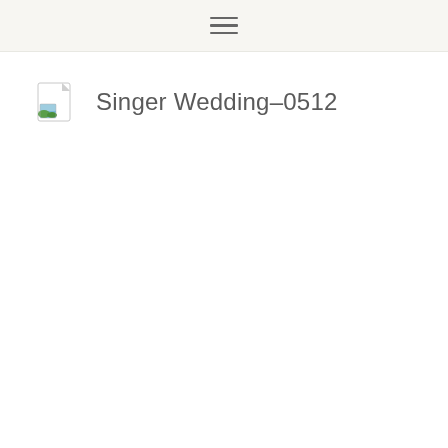[Figure (screenshot): A file icon representing an image file (Singer Wedding-0512), with a white document background and a small landscape photo thumbnail in the bottom-left corner showing sky and green hills.]
Singer Wedding-0512